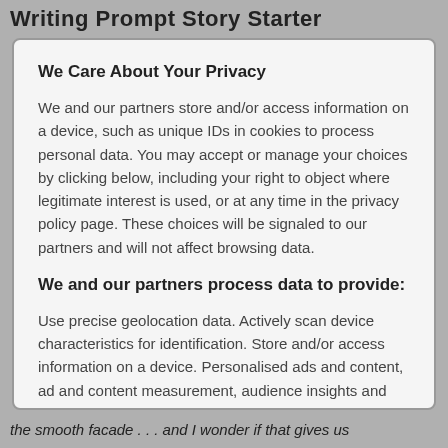Writing Prompt Story Starter
We Care About Your Privacy
We and our partners store and/or access information on a device, such as unique IDs in cookies to process personal data. You may accept or manage your choices by clicking below, including your right to object where legitimate interest is used, or at any time in the privacy policy page. These choices will be signaled to our partners and will not affect browsing data.
We and our partners process data to provide:
Use precise geolocation data. Actively scan device characteristics for identification. Store and/or access information on a device. Personalised ads and content, ad and content measurement, audience insights and product development.
the smooth facade . . . and I wonder if that gives us